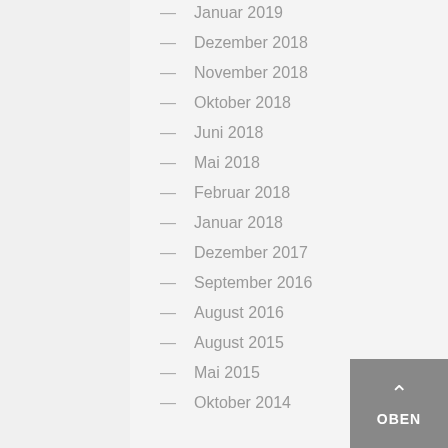— Januar 2019
— Dezember 2018
— November 2018
— Oktober 2018
— Juni 2018
— Mai 2018
— Februar 2018
— Januar 2018
— Dezember 2017
— September 2016
— August 2016
— August 2015
— Mai 2015
— Oktober 2014